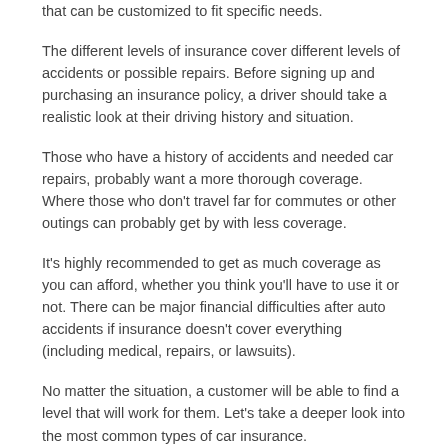that can be customized to fit specific needs.
The different levels of insurance cover different levels of accidents or possible repairs. Before signing up and purchasing an insurance policy, a driver should take a realistic look at their driving history and situation.
Those who have a history of accidents and needed car repairs, probably want a more thorough coverage. Where those who don’t travel far for commutes or other outings can probably get by with less coverage.
It’s highly recommended to get as much coverage as you can afford, whether you think you’ll have to use it or not. There can be major financial difficulties after auto accidents if insurance doesn’t cover everything (including medical, repairs, or lawsuits).
No matter the situation, a customer will be able to find a level that will work for them. Let’s take a deeper look into the most common types of car insurance.